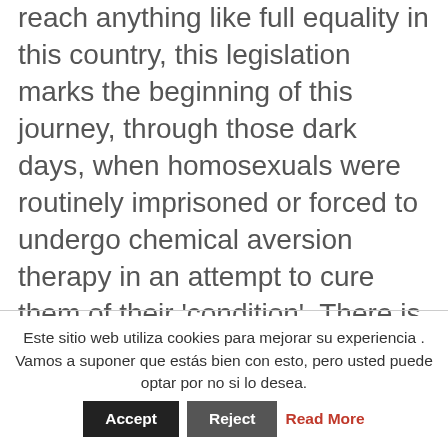reach anything like full equality in this country, this legislation marks the beginning of this journey, through those dark days, when homosexuals were routinely imprisoned or forced to undergo chemical aversion therapy in an attempt to cure them of their 'condition'. There is also testimony from a retired police officer whose job it was to enforce these laws, and a former psychiatric nurse who administered the so-called cures. All these accounts amplify the themes of the drama and help to immerse us in the reality of a dark chapter in our recent past.
Este sitio web utiliza cookies para mejorar su experiencia . Vamos a suponer que estás bien con esto, pero usted puede optar por no si lo desea. Accept Reject Read More